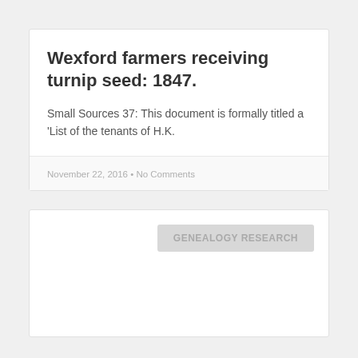Wexford farmers receiving turnip seed: 1847.
Small Sources 37:  This document is formally titled a 'List of the tenants of H.K.
November 22, 2016  •  No Comments
[Figure (screenshot): A card section with a light grey button labeled 'GENEALOGY RESEARCH' in the upper right area.]